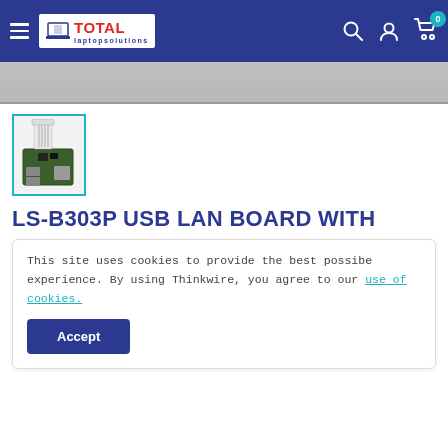Total Laptop Solutions — navigation bar with hamburger menu, logo, search, account, and cart icons
[Figure (photo): Gray background product image strip (partially cropped)]
[Figure (photo): Small thumbnail of a laptop USB LAN board (LS-B303P) with cable, shown in teal-bordered frame]
LS-B303P USB LAN BOARD WITH
This site uses cookies to provide the best possibe experience. By using Thinkwire, you agree to our use of cookies.
Accept